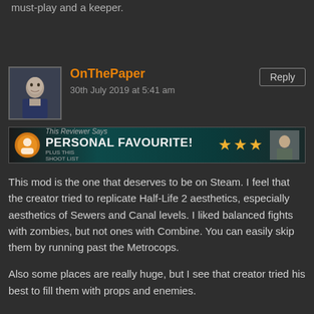must-play and a keeper.
[Figure (photo): User avatar showing a man in a suit with dark background]
OnThePaper
30th July 2019 at 5:41 am
Reply
[Figure (infographic): Badge banner with 'This Reviewer Says' subtitle and 'PERSONAL FAVOURITE!' title with 3 gold stars]
This mod is the one that deserves to be on Steam. I feel that the creator tried to replicate Half-Life 2 aesthetics, especially aesthetics of Sewers and Canal levels. I liked balanced fights with zombies, but not ones with Combine. You can easily skip them by running past the Metrocops.
Also some places are really huge, but I see that creator tried his best to fill them with props and enemies.